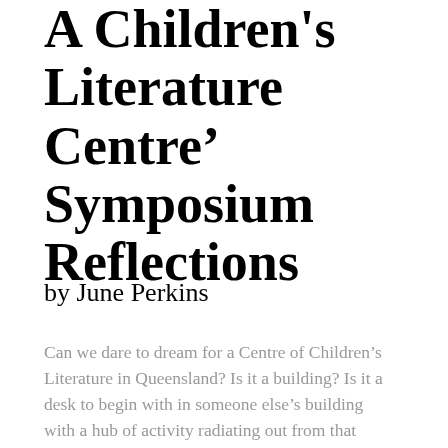A Children's Literature Centre' Symposium Reflections
by June Perkins
Can we dare to dream for a Centre of Children's Literature in Queensland? Is it a building? Is it a desk to begin with in someone else's building with a hub of activity radiating out from that point? Where are we at? Where do we dream of going?